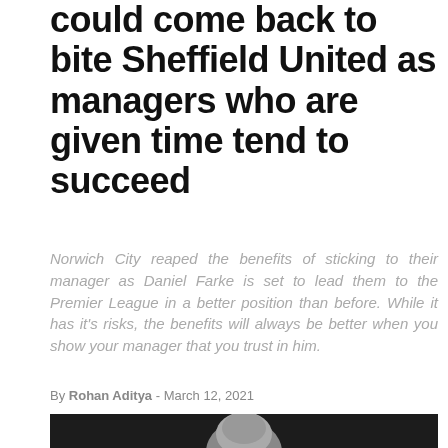Chris Wilder's departure could come back to bite Sheffield United as managers who are given time tend to succeed
Norwich City reaped the benefits of sticking to their manager as Daniel Farke is set to lead them to the Premier League in a better position than before. While it has it's risks, the benefits will always be better when you show your manager that you trust in him.
By Rohan Aditya - March 12, 2021
[Figure (photo): Photo of a person with grey hair shown from roughly shoulder height up, against a dark background.]